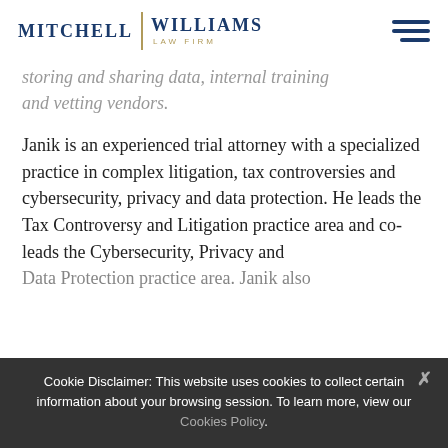Mitchell Williams Law Firm
storing and sharing data, internal training and vetting vendors.
Janik is an experienced trial attorney with a specialized practice in complex litigation, tax controversies and cybersecurity, privacy and data protection. He leads the Tax Controversy and Litigation practice area and co-leads the Cybersecurity, Privacy and Data Protection practice area. Janik also
Cookie Disclaimer: This website uses cookies to collect certain information about your browsing session. To learn more, view our Cookies Policy.